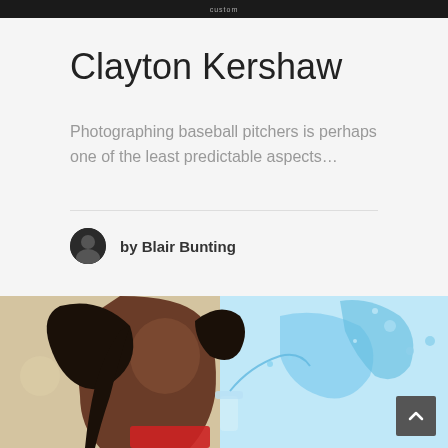custom
Clayton Kershaw
Photographing baseball pitchers is perhaps one of the least predictable aspects…
by Blair Bunting
[Figure (photo): A woman with long flowing dark hair wearing a red top, photographed with blue liquid splash/explosion effect behind her on the right side. Dynamic action shot with hair flying and water droplets visible.]